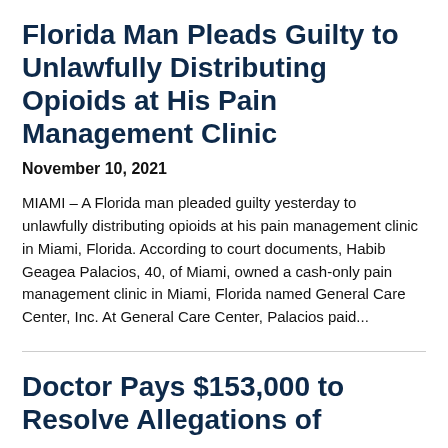Florida Man Pleads Guilty to Unlawfully Distributing Opioids at His Pain Management Clinic
November 10, 2021
MIAMI – A Florida man pleaded guilty yesterday to unlawfully distributing opioids at his pain management clinic in Miami, Florida. According to court documents, Habib Geagea Palacios, 40, of Miami, owned a cash-only pain management clinic in Miami, Florida named General Care Center, Inc. At General Care Center, Palacios paid...
Doctor Pays $153,000 to Resolve Allegations of